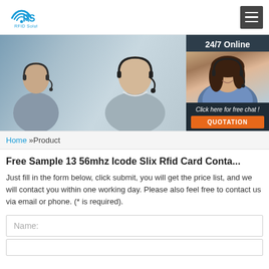[Figure (logo): RS RFID Solution logo with wifi/signal icon in blue]
[Figure (photo): Customer service representatives wearing headsets, office background. Right side shows 24/7 Online chat support box with a female agent and a QUOTATION button.]
Home »Product
Free Sample 13 56mhz Icode Slix Rfid Card Conta...
Just fill in the form below, click submit, you will get the price list, and we will contact you within one working day. Please also feel free to contact us via email or phone. (* is required).
Name: